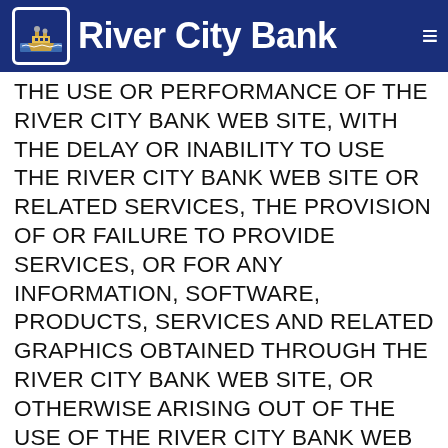River City Bank
THE USE OR PERFORMANCE OF THE RIVER CITY BANK WEB SITE, WITH THE DELAY OR INABILITY TO USE THE RIVER CITY BANK WEB SITE OR RELATED SERVICES, THE PROVISION OF OR FAILURE TO PROVIDE SERVICES, OR FOR ANY INFORMATION, SOFTWARE, PRODUCTS, SERVICES AND RELATED GRAPHICS OBTAINED THROUGH THE RIVER CITY BANK WEB SITE, OR OTHERWISE ARISING OUT OF THE USE OF THE RIVER CITY BANK WEB SITE, WHETHER BASED ON CONTRACT, TORT, NEGLIGENCE, STRICT LIABILITY OR OTHERWISE, EVEN IF RIVER CITY BANK OR ANY OF ITS SUPPLIERS HAS BEEN ADVISED OF THE POSSIBILITY OF DAMAGES. BECAUSE SOME STATES/JURISDICTIONS DO NOT ALLOW THE EXCLUSION OR LIMITATION OF LIABILITY FOR CONSEQUENTIAL OR INCIDENTAL